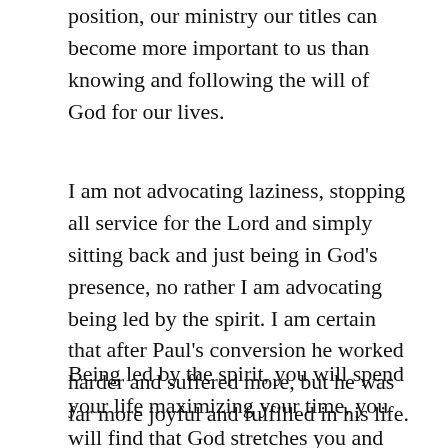position, our ministry our titles can become more important to us than knowing and following the will of God for our lives.
I am not advocating laziness, stopping all service for the Lord and simply sitting back and just being in God's presence, no rather I am advocating being led by the spirit. I am certain that after Paul's conversion he worked harder and suffered more, but he was far more joyful and fulfilled in his life.
Being led by the spirit, you will spend your life maximizing your time, you will find that God stretches you and grows you, but you will not be working to earn favor from God, rather you will be working because the Spirit of God is leading you.
What religious activity do you need to drop today?